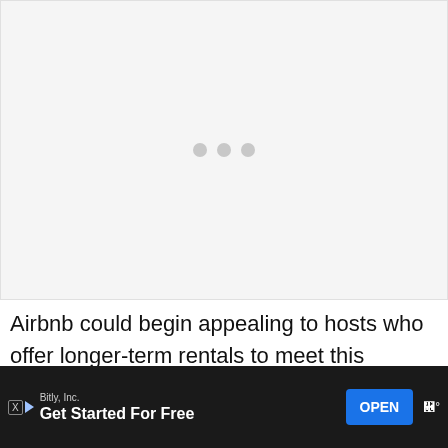[Figure (other): Loading placeholder with three grey dots centered on a light grey background]
Airbnb could begin appealing to hosts who offer longer-term rentals to meet this demand, in addition to its more traditional vacation-style stays. This provides a getaway experience for someone who is working re...
[Figure (other): Advertisement bar: Bitly, Inc. — Get Started For Free — OPEN button]